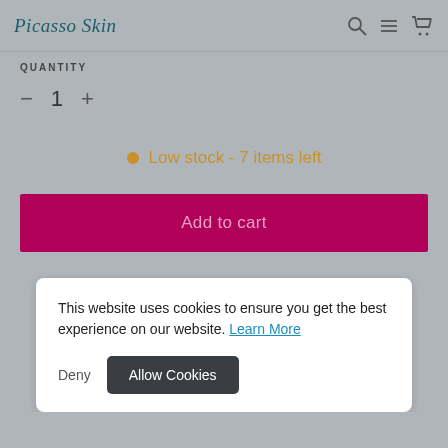Picasso Skin
QUANTITY
− 1 +
Low stock - 7 items left
Add to cart
This website uses cookies to ensure you get the best experience on our website. Learn More Deny Allow Cookies